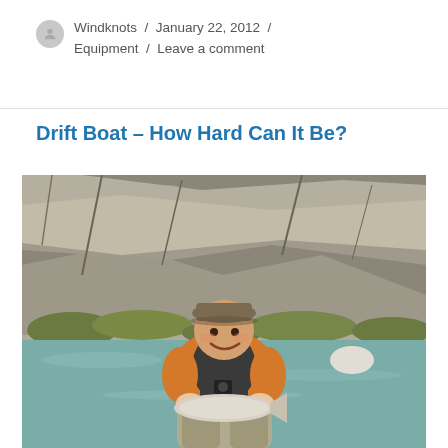Windknots / January 22, 2012 / Equipment / Leave a comment
Drift Boat – How Hard Can It Be?
[Figure (photo): A smiling man in an orange jacket, dark vest, and waders stands in a river holding a large fish with both hands. Rocky cliffs and green shrubs are visible in the background.]